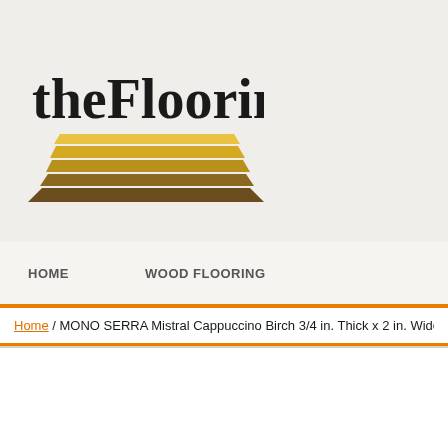[Figure (logo): theFlooring logo with text and decorative wood-plank stripes below]
HOME    WOOD FLOORING
Home / MONO SERRA Mistral Cappuccino Birch 3/4 in. Thick x 2 in. Wide x ...